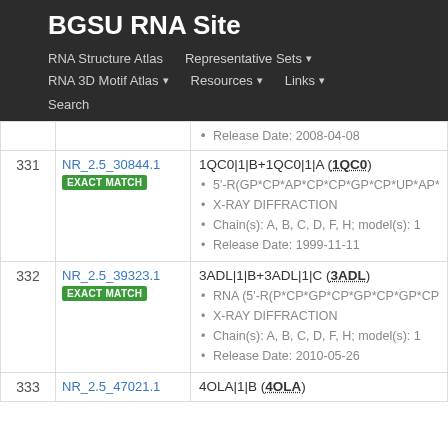BGSU RNA Site
RNA Structure Atlas | Representative Sets ▾ | RNA 3D Motif Atlas ▾ | Resources ▾ | Links ▾ | Search
| # | ID | Description |
| --- | --- | --- |
|  |  | Release Date: 2008-04-08 |
| 331 | NR_2.5_30844.1 [EXACT MATCH] | 1QC0|1|B+1QC0|1|A (1QC0)
• 5'-R(GP*CP*AP*CP*CP*GP*CP*UP*AP*C...
• X-RAY DIFFRACTION
• Chain(s): A, B, C, D, F, H; model(s): 1
• Release Date: 1999-11-11 |
| 332 | NR_2.5_39323.1 [EXACT MATCH] | 3ADL|1|B+3ADL|1|C (3ADL)
• RNA (5'-R(P*CP*GP*CP*GP*CP*GP*CP*...
• X-RAY DIFFRACTION
• Chain(s): A, B, C, D, F, H; model(s): 1
• Release Date: 2010-05-26 |
| 333 | NR_2.5_47021.1 | 4OLA|1|B (4OLA) |